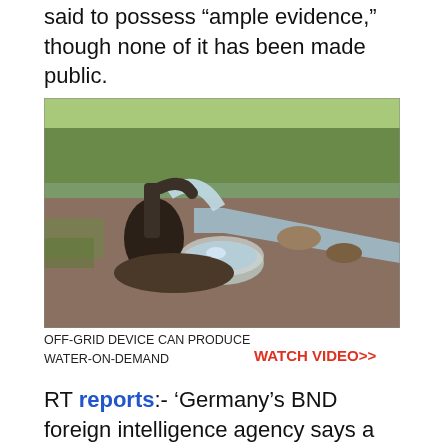said to possess “ample evidence,” though none of it has been made public.
[Figure (photo): Outdoor water pump discharging water into a round basin, with an irrigated field in the background.]
OFF-GRID DEVICE CAN PRODUCE WATER-ON-DEMAND
WATCH VIDEO>>
RT reports:- ‘Germany’s BND foreign intelligence agency says a local militia shot down Malaysia Airlines flight MH17 in